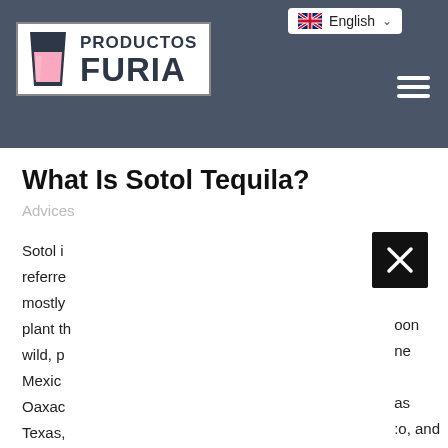Productos Furia — English language selector, hamburger menu
What Is Sotol Tequila?
Advices
Sotol is referred mostly on plant the wild, p Mexico as Oaxaca :o, and Texas,